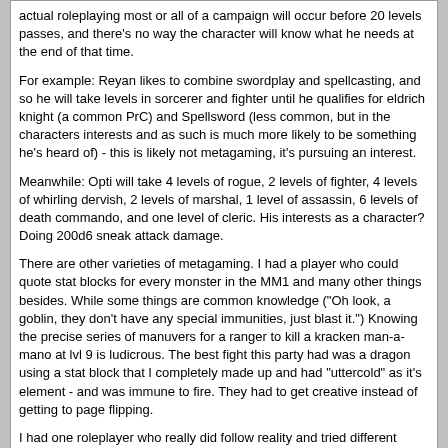actual roleplaying most or all of a campaign will occur before 20 levels passes, and there's no way the character will know what he needs at the end of that time.

For example: Reyan likes to combine swordplay and spellcasting, and so he will take levels in sorcerer and fighter until he qualifies for eldrich knight (a common PrC) and Spellsword (less common, but in the characters interests and as such is much more likely to be something he's heard of) - this is likely not metagaming, it's pursuing an interest.

Meanwhile: Opti will take 4 levels of rogue, 2 levels of fighter, 4 levels of whirling dervish, 2 levels of marshal, 1 level of assassin, 6 levels of death commando, and one level of cleric. His interests as a character? Doing 200d6 sneak attack damage.

There are other varieties of metagaming. I had a player who could quote stat blocks for every monster in the MM1 and many other things besides. While some things are common knowledge (&quot;Oh look, a goblin, they don't have any special immunities, just blast it.&quot;) Knowing the precise series of manuvers for a ranger to kill a kracken man-a-mano at lvl 9 is ludicrous. The best fight this party had was a dragon using a stat block that I completely made up and had &quot;uttercold&quot; as it's element - and was immune to fire. They had to get creative instead of getting to page flipping.

I had one roleplayer who really did follow reality and tried different methods of attacking a pit fiend, incluiding some he as a player knew would not work, because his paladin (and the party he was leading) had not fought one before. Everyone loved this guy.

Just a thought.
Piotr
2006-10-06, 02:39 AM
Thats my point exactally. What you learned in wizard school would be your knowledge skills, specifically arcana and the planes.

If you want your character to be able to know what a monsters weaknesses...